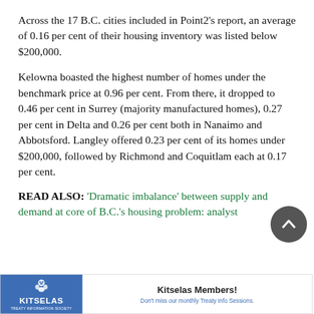Across the 17 B.C. cities included in Point2's report, an average of 0.16 per cent of their housing inventory was listed below $200,000.
Kelowna boasted the highest number of homes under the benchmark price at 0.96 per cent. From there, it dropped to 0.46 per cent in Surrey (majority manufactured homes), 0.27 per cent in Delta and 0.26 per cent both in Nanaimo and Abbotsford. Langley offered 0.23 per cent of its homes under $200,000, followed by Richmond and Coquitlam each at 0.17 per cent.
READ ALSO: 'Dramatic imbalance' between supply and demand at core of B.C.'s housing problem: analyst
[Figure (other): Advertisement banner for Kitselas Treaty Information Society: blue left panel with Kitselas logo and name, white right panel with text 'Kitselas Members! Don't miss our monthly Treaty Info Sessions.']